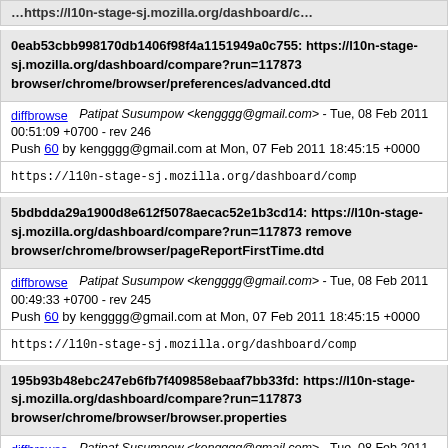...https://l10n-stage-sj.mozilla.org/dashboard/c...
0eab53cbb998170db1406f98f4a1151949a0c755: https://l10n-stage-sj.mozilla.org/dashboard/compare?run=117873 browser/chrome/browser/preferences/advanced.dtd
diff browse  Patipat Susumpow <kengggg@gmail.com> - Tue, 08 Feb 2011 00:51:09 +0700 - rev 246
Push 60 by kengggg@gmail.com at Mon, 07 Feb 2011 18:45:15 +0000
https://l10n-stage-sj.mozilla.org/dashboard/comp
5bdbdda29a1900d8e612f5078aecac52e1b3cd14: https://l10n-stage-sj.mozilla.org/dashboard/compare?run=117873 remove browser/chrome/browser/pageReportFirstTime.dtd
diff browse  Patipat Susumpow <kengggg@gmail.com> - Tue, 08 Feb 2011 00:49:33 +0700 - rev 245
Push 60 by kengggg@gmail.com at Mon, 07 Feb 2011 18:45:15 +0000
https://l10n-stage-sj.mozilla.org/dashboard/comp
195b93b48ebc247eb6fb7f409858ebaaf7bb33fd: https://l10n-stage-sj.mozilla.org/dashboard/compare?run=117873 browser/chrome/browser/browser.properties
diff browse  Patipat Susumpow <kengggg@gmail.com> - Tue, 08 Feb 2011 00:49:02 +0700 - rev 244
Push 60 by kengggg@gmail.com at Mon, 07 Feb 2011 18:45:15 +0000